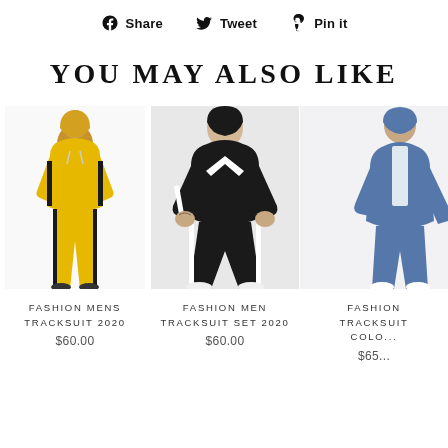Share   Tweet   Pin it
YOU MAY ALSO LIKE
[Figure (photo): Yellow men's tracksuit hoodie and joggers with black side stripe]
FASHION MENS TRACKSUIT 2020
$60.00
[Figure (photo): Black and white men's tracksuit set, model seated]
FASHION MEN TRACKSUIT SET 2020
$60.00
[Figure (photo): Blue men's tracksuit hoodie and joggers, partially cropped]
FASHION TRACKSUIT COLO...
$65...